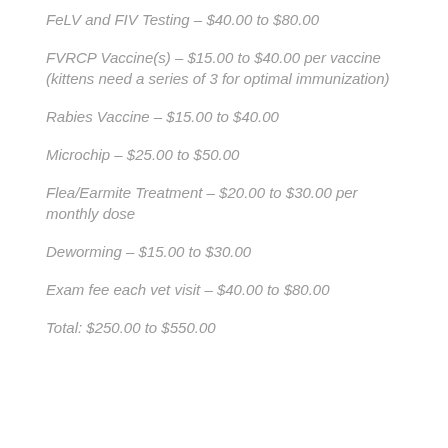FeLV and FIV Testing – $40.00 to $80.00
FVRCP Vaccine(s) – $15.00 to $40.00 per vaccine (kittens need a series of 3 for optimal immunization)
Rabies Vaccine – $15.00 to $40.00
Microchip – $25.00 to $50.00
Flea/Earmite Treatment – $20.00 to $30.00 per monthly dose
Deworming – $15.00 to $30.00
Exam fee each vet visit – $40.00 to $80.00
Total: $250.00 to $550.00